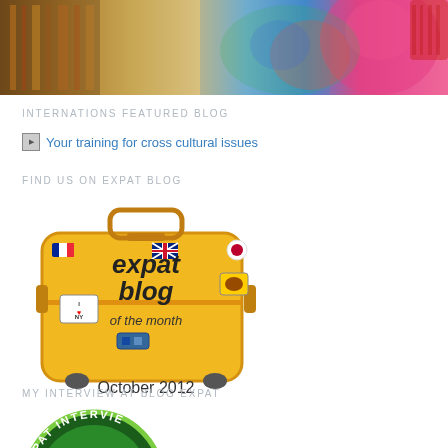[Figure (photo): Colorful photo of a woman in a pink top with fabric/textiles in background]
INTERNATIONS FEATURED BLOG
[Figure (other): Broken image placeholder with link: Your training for cross cultural issues]
FIND US ON EXPAT BLOG
[Figure (other): Expat Blog of the Month badge - October 2012, showing a yellow suitcase with stickers]
MY INTERVIEW AT BLOG EXPAT
[Figure (other): Circular expat interview badge with green border, partially visible]